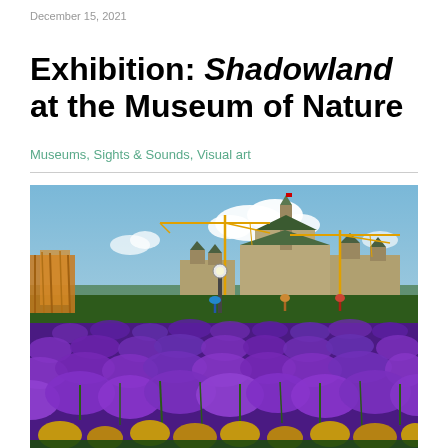December 15, 2021
Exhibition: Shadowland at the Museum of Nature
Museums, Sights & Sounds, Visual art
[Figure (photo): Outdoor photo showing purple and yellow flowers in the foreground with people walking, a lamp post, construction cranes, and Parliament Hill buildings in Ottawa under a partly cloudy blue sky in the background.]